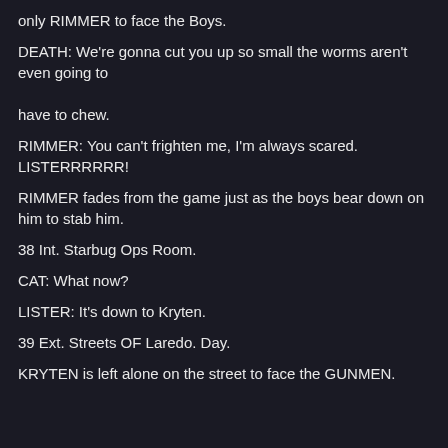only RIMMER to face the Boys.
DEATH: We're gonna cut you up so small the worms aren't even going to have to chew.
RIMMER: You can't frighten me, I'm always scared. LISTERRRRRR!
RIMMER fades from the game just as the boys bear down on him to stab him.
38 Int. Starbug Ops Room.
CAT: What now?
LISTER: It's down to Kryten.
39 Ext. Streets OF Laredo. Day.
KRYTEN is left alone on the street to face the GUNMEN.